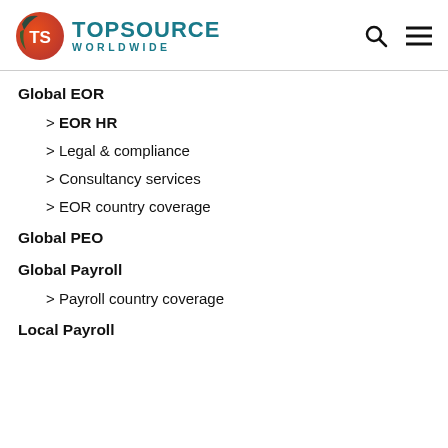TOPSOURCE WORLDWIDE
Global EOR
> EOR HR
> Legal & compliance
> Consultancy services
> EOR country coverage
Global PEO
Global Payroll
> Payroll country coverage
Local Payroll